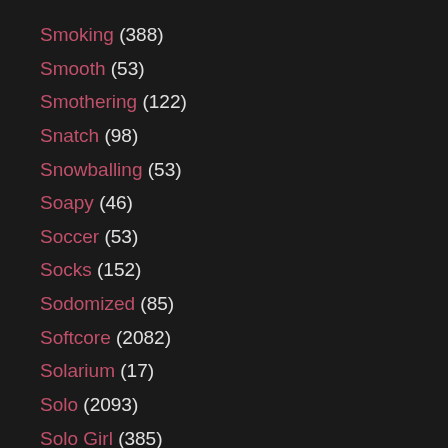Smoking (388)
Smooth (53)
Smothering (122)
Snatch (98)
Snowballing (53)
Soapy (46)
Soccer (53)
Socks (152)
Sodomized (85)
Softcore (2082)
Solarium (17)
Solo (2093)
Solo Girl (385)
Solo Mom (51)
Sorority (39)